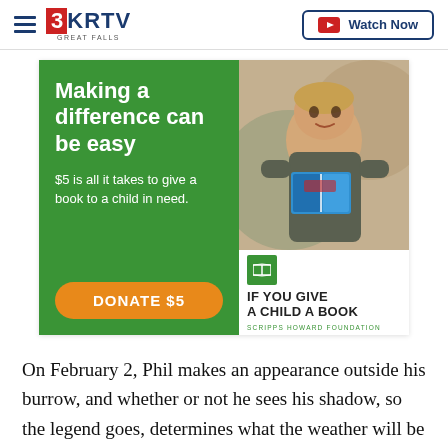3KRTV Great Falls | Watch Now
[Figure (illustration): Charity advertisement for 'If You Give a Child a Book' by Scripps Howard Foundation. Green left panel with text 'Making a difference can be easy' and '$5 is all it takes to give a book to a child in need.' with an orange 'DONATE $5' button. Right panel shows a photo of a smiling boy holding books, with the campaign logo and text below.]
On February 2, Phil makes an appearance outside his burrow, and whether or not he sees his shadow, so the legend goes, determines what the weather will be like for the next several weeks. The tradition started in the